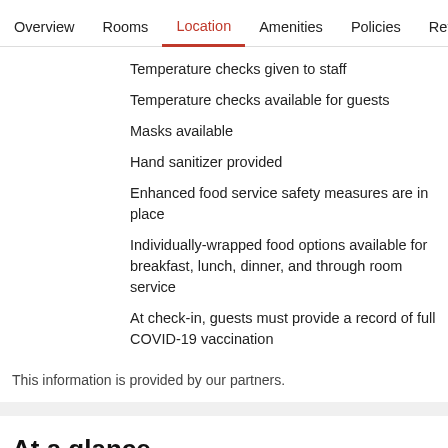Overview  Rooms  Location  Amenities  Policies  Reviews
Temperature checks given to staff
Temperature checks available for guests
Masks available
Hand sanitizer provided
Enhanced food service safety measures are in place
Individually-wrapped food options available for breakfast, lunch, dinner, and through room service
At check-in, guests must provide a record of full COVID-19 vaccination
This information is provided by our partners.
At a glance
Hotel size